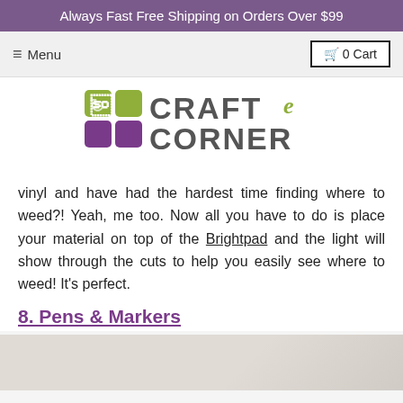Always Fast Free Shipping on Orders Over $99
[Figure (logo): Craft-e Corner logo with green and purple squares and stylized text]
vinyl and have had the hardest time finding where to weed?! Yeah, me too. Now all you have to do is place your material on top of the Brightpad and the light will show through the cuts to help you easily see where to weed! It’s perfect.
8. Pens & Markers
[Figure (photo): Partial photo visible at bottom of page, light gray/beige background]